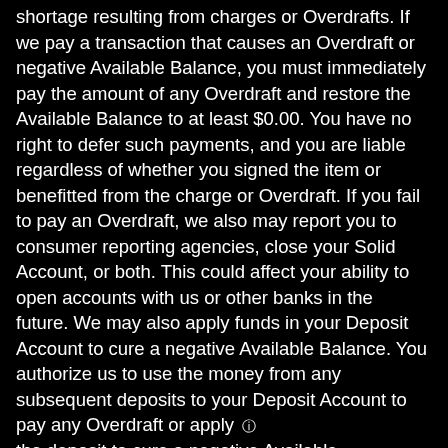shortage resulting from charges or Overdrafts. If we pay a transaction that causes an Overdraft or negative Available Balance, you must immediately pay the amount of any Overdraft and restore the Available Balance to at least $0.00. You have no right to defer such payments, and you are liable regardless of whether you signed the item or benefitted from the charge or Overdraft. If you fail to pay an Overdraft, we also may report you to consumer reporting agencies, close your Solid Account, or both. This could affect your ability to open accounts with us or other banks in the future. We may also apply funds in your Deposit Account to cure a negative Available Balance. You authorize us to use the money from any subsequent deposits to your Deposit Account to pay any Overdraft or apply the deposit to cure a negative Available